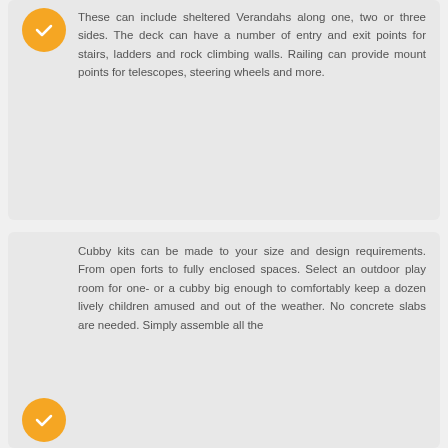These can include sheltered Verandahs along one, two or three sides. The deck can have a number of entry and exit points for stairs, ladders and rock climbing walls. Railing can provide mount points for telescopes, steering wheels and more.
Cubby kits can be made to your size and design requirements. From open forts to fully enclosed spaces. Select an outdoor play room for one- or a cubby big enough to comfortably keep a dozen lively children amused and out of the weather. No concrete slabs are needed. Simply assemble all the